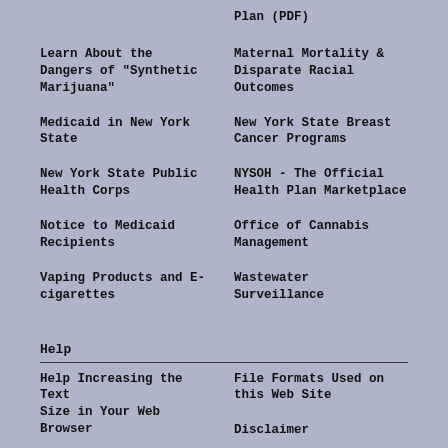Plan (PDF)
Learn About the Dangers of "Synthetic Marijuana"
Maternal Mortality & Disparate Racial Outcomes
Medicaid in New York State
New York State Breast Cancer Programs
New York State Public Health Corps
NYSOH - The Official Health Plan Marketplace
Notice to Medicaid Recipients
Office of Cannabis Management
Vaping Products and E-cigarettes
Wastewater Surveillance
Help
Help Increasing the Text Size in Your Web Browser
File Formats Used on this Web Site
Disclaimer
Privacy Policy
Accessibility